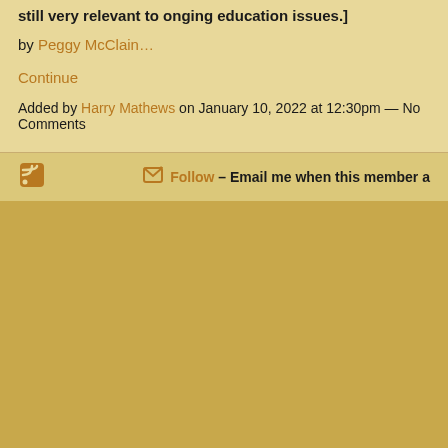still very relevant to onging education issues.]
by Peggy McClain…
Continue
Added by Harry Mathews on January 10, 2022 at 12:30pm — No Comments
Follow – Email me when this member a